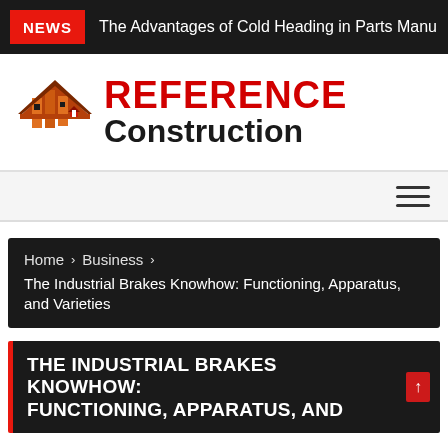NEWS  The Advantages of Cold Heading in Parts Manu
[Figure (logo): Reference Construction logo with orange/red building icon and red 'REFERENCE' text with black 'Construction' text]
Navigation menu bar with hamburger icon
Home > Business > The Industrial Brakes Knowhow: Functioning, Apparatus, and Varieties
THE INDUSTRIAL BRAKES KNOWHOW: FUNCTIONING, APPARATUS, AND